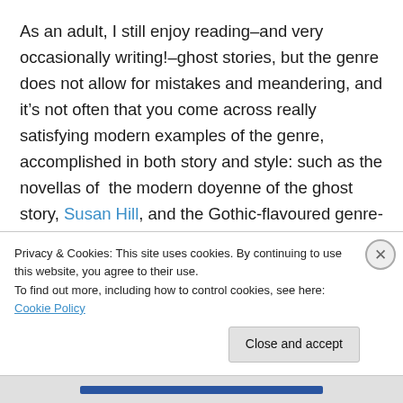As an adult, I still enjoy reading–and very occasionally writing!–ghost stories, but the genre does not allow for mistakes and meandering, and it's not often that you come across really satisfying modern examples of the genre, accomplished in both story and style: such as the novellas of the modern doyenne of the ghost story, Susan Hill, and the Gothic-flavoured genre-benders of John Harwood. But recently, on Amazon, I discovered the work of Benedict Ashforth, an English writer whose elegantly creepy, chillingly atmospheric, precisely-told ghost stories and
Privacy & Cookies: This site uses cookies. By continuing to use this website, you agree to their use.
To find out more, including how to control cookies, see here: Cookie Policy
Close and accept